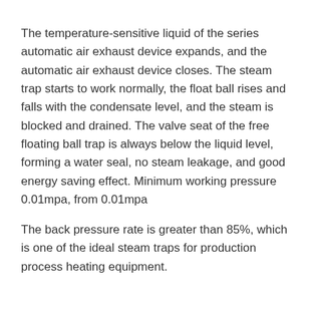The temperature-sensitive liquid of the series automatic air exhaust device expands, and the automatic air exhaust device closes. The steam trap starts to work normally, the float ball rises and falls with the condensate level, and the steam is blocked and drained. The valve seat of the free floating ball trap is always below the liquid level, forming a water seal, no steam leakage, and good energy saving effect. Minimum working pressure 0.01mpa, from 0.01mpa
The back pressure rate is greater than 85%, which is one of the ideal steam traps for production process heating equipment.